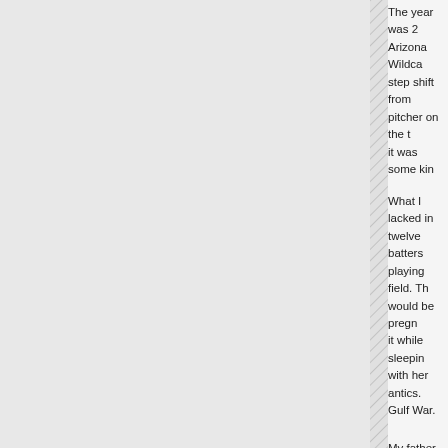The year was 2... Arizona Wildcats... step shift from... pitcher on the t... it was some kin...
What I lacked in... twelve batters... playing field. Th... would be pregn... it while sleeping... with her antics.... Gulf War.
My father, John... for my sister D... scholarship, he...
Debra Reilly wa... parents didn't h...